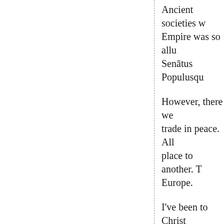Ancient societies w... Empire was so allu... Senātus Populusqu...
However, there we... trade in peace. All... place to another. T... Europe.
I've been to Christ... than one market in... but also many artis...
I love farmers mar... That's what we cal... fresh fruit and veg...
The cart has a long... from it.